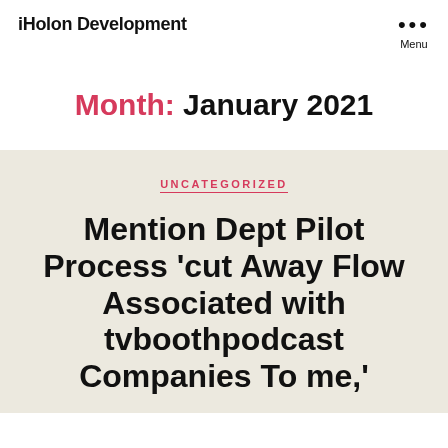iHolon Development
Month: January 2021
UNCATEGORIZED
Mention Dept Pilot Process 'cut Away Flow Associated with tvboothpodcast Companies To me,'